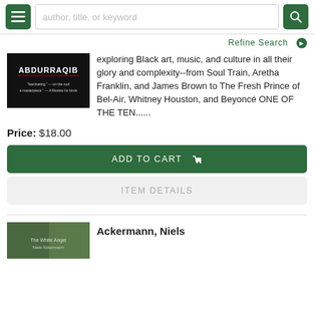author, title, or keyword
Refine Search
[Figure (photo): Book cover for Abdurraqib with dark background and text]
exploring Black art, music, and culture in all their glory and complexity--from Soul Train, Aretha Franklin, and James Brown to The Fresh Prince of Bel-Air, Whitney Houston, and Beyoncé ONE OF THE TEN......
Price: $18.00
ADD TO CART
ITEM DETAILS
[Figure (photo): Partial book cover for Ackermann, Niels]
Ackermann, Niels